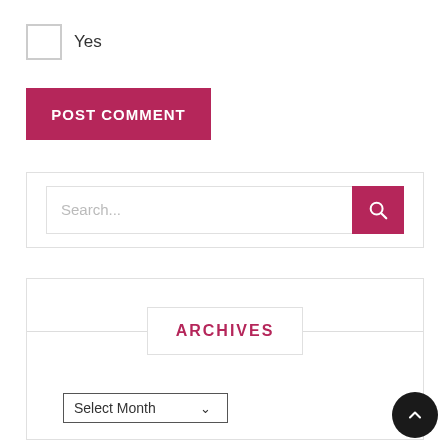Yes
POST COMMENT
[Figure (screenshot): Search input field with a pink/magenta search button containing a magnifying glass icon]
ARCHIVES
Select Month